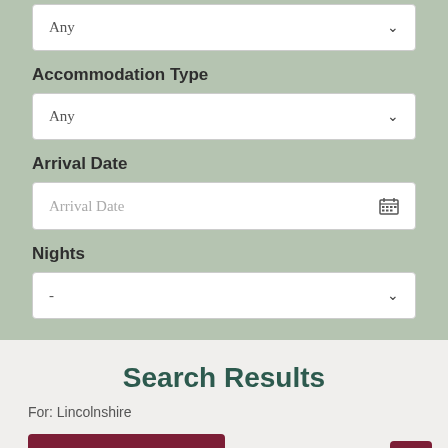Accommodation Type
Any
Arrival Date
Arrival Date
Nights
-
Find me a place to stay!
Search Results
For: Lincolnshire
Bed And Breakfast